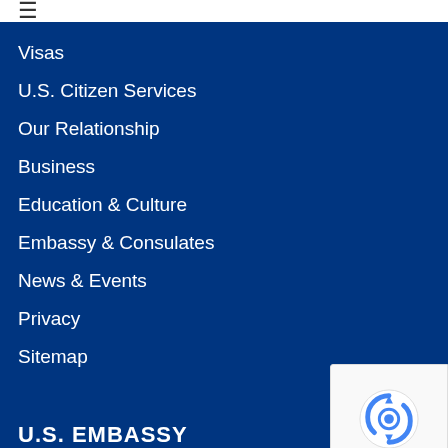≡ (navigation menu icon)
Visas
U.S. Citizen Services
Our Relationship
Business
Education & Culture
Embassy & Consulates
News & Events
Privacy
Sitemap
U.S. EMBASSY
U.S. Embassy London